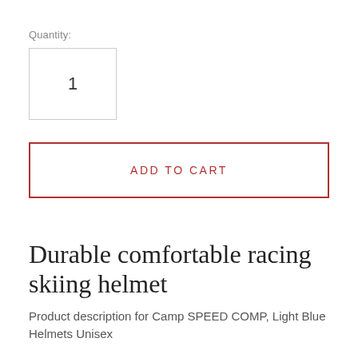Quantity:
1
ADD TO CART
Durable comfortable racing skiing helmet
Product description for Camp SPEED COMP, Light Blue Helmets Unisex